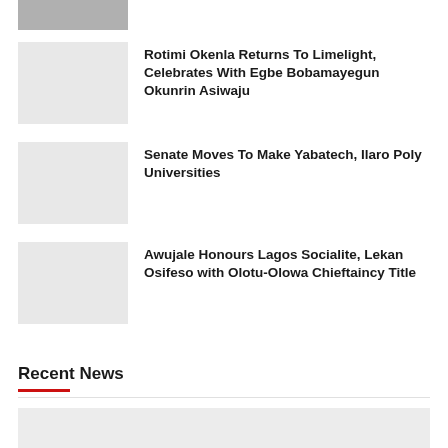[Figure (photo): Partial news thumbnail at top of page, partially cut off]
Rotimi Okenla Returns To Limelight, Celebrates With Egbe Bobamayegun Okunrin Asiwaju
Senate Moves To Make Yabatech, Ilaro Poly Universities
Awujale Honours Lagos Socialite, Lekan Osifeso with Olotu-Olowa Chieftaincy Title
Recent News
[Figure (photo): Large recent news article thumbnail image, mostly gray placeholder]